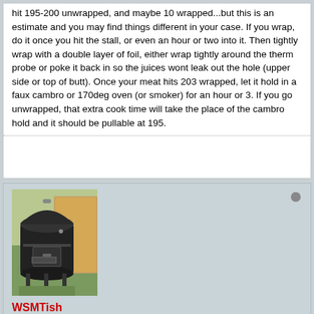hit 195-200 unwrapped, and maybe 10 wrapped...but this is an estimate and you may find things different in your case. If you wrap, do it once you hit the stall, or even an hour or two into it. Then tightly wrap with a double layer of foil, either wrap tightly around the therm probe or poke it back in so the juices wont leak out the hole (upper side or top of butt). Once your meat hits 203 wrapped, let it hold in a faux cambro or 170deg oven (or smoker) for an hour or 3. If you go unwrapped, that extra cook time will take the place of the cambro hold and it should be pullable at 195.
[Figure (photo): Avatar photo of a black Weber Smokey Mountain cooker (WSM) with a cardboard box in the background, on grass]
WSMTish
Former Member
Joined: May 2015   Posts: 32
Location: Rockford, IL
May 5, 2015, 11:07 PM
Top | #9